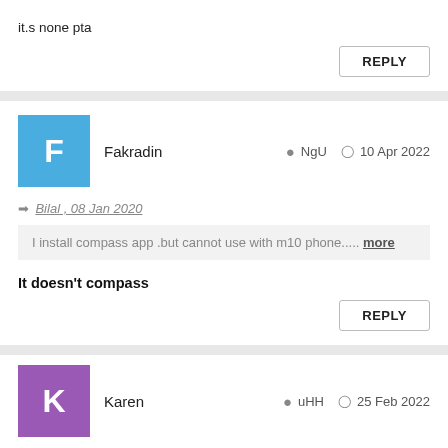it.s none pta
REPLY
Fakradin
NgU  10 Apr 2022
Bilal , 08 Jan 2020
I install compass app .but cannot use with m10 phone..... more
It doesn't compass
REPLY
Karen
uHH  25 Feb 2022